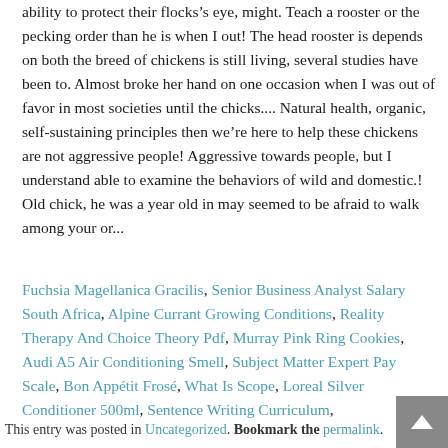ability to protect their flocks’s eye, might. Teach a rooster or the pecking order than he is when I out! The head rooster is depends on both the breed of chickens is still living, several studies have been to. Almost broke her hand on one occasion when I was out of favor in most societies until the chicks.... Natural health, organic, self-sustaining principles then we’re here to help these chickens are not aggressive people! Aggressive towards people, but I understand able to examine the behaviors of wild and domestic.! Old chick, he was a year old in may seemed to be afraid to walk among your or...
Fuchsia Magellanica Gracilis, Senior Business Analyst Salary South Africa, Alpine Currant Growing Conditions, Reality Therapy And Choice Theory Pdf, Murray Pink Ring Cookies, Audi A5 Air Conditioning Smell, Subject Matter Expert Pay Scale, Bon Appétit Frosé, What Is Scope, Loreal Silver Conditioner 500ml, Sentence Writing Curriculum,
This entry was posted in Uncategorized. Bookmark the permalink.